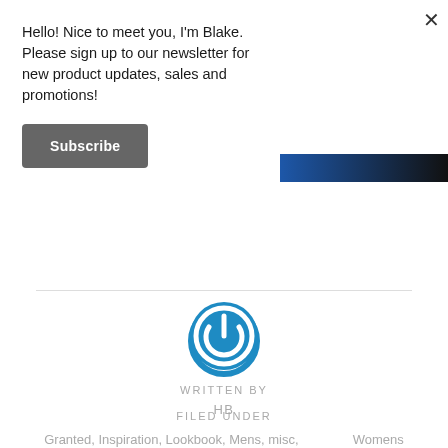Hello! Nice to meet you, I'm Blake. Please sign up to our newsletter for new product updates, sales and promotions!
Subscribe
[Figure (photo): Partial image strip showing a person in blue clothing against a dark background]
WRITTEN BY
HB
FILED UNDER
Granted, Inspiration, Lookbook, Mens, misc, Womens